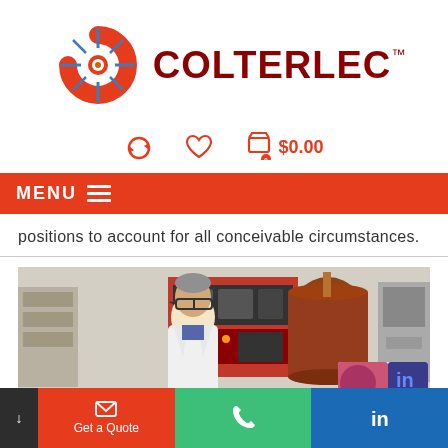[Figure (logo): Colterlec logo with red compass/swoosh graphic and dark red bold text reading COLTERLEC with TM mark]
[Figure (infographic): Icon bar with recycle/refresh icon, heart icon, and shopping cart icon with badge showing 0 and $0.00 text, all in red/coral color]
[Figure (infographic): Red navigation bar with white text MENU and hamburger lines icon]
positions to account for all conceivable circumstances.
[Figure (photo): Photo of a man in white lab coat and safety glasses standing next to industrial electrical test equipment and a large red/brown cylindrical tank in a laboratory setting]
[Figure (infographic): Bottom navigation bar with three sections: dark left arrow button, red Get a Quote button with envelope icon, green phone button with handset icon, blue LinkedIn button with 'in' logo]